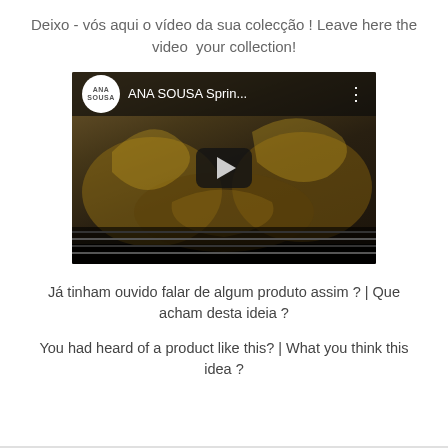Deixo - vós aqui o vídeo da sua colecção ! Leave here the video  your collection!
[Figure (screenshot): YouTube video thumbnail for 'ANA SOUSA Sprin...' showing a dark ornate golden decorative background with a play button in the center and the Ana Sousa circular logo in the top bar.]
Já tinham ouvido falar de algum produto assim ? | Que acham desta ideia ?
You had heard of a product like this? | What you think this idea ?